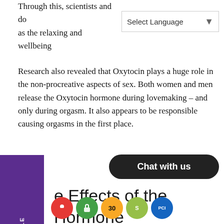Through this, scientists and doctors started to take note as the relaxing and wellbeing
Research also revealed that Oxytocin plays a huge role in the non-procreative aspects of sex. Both women and men release the Oxytocin hormone during lovemaking – and only during orgasm. It also appears to be responsible causing orgasms in the first place.
e Effects of the Hormone xytocin in Love Making
At our body's normal level of production, Oxytocin encourages a mild desire to be kissed your lover. In fact being touching anywhere s to a rise in Oxytocin levels. This c